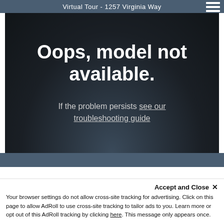Virtual Tour - 1257 Virginia Way
[Figure (screenshot): Virtual tour error screen with dark background showing 'Oops, model not available.' and a link to see the troubleshooting guide]
PHOTO GALLERY
Accept and Close ✕
Your browser settings do not allow cross-site tracking for advertising. Click on this page to allow AdRoll to use cross-site tracking to tailor ads to you. Learn more or opt out of this AdRoll tracking by clicking here. This message only appears once.